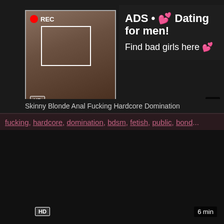[Figure (screenshot): Video thumbnail showing a person taking a selfie with REC indicator overlay and focus box]
[Figure (infographic): Advertisement overlay: ADS • 💕 Dating for men! Find bad girls here 💕]
Skinny Blonde Anal Fucking Hardcore Domination
fucking, hardcore, domination, bdsm, fetish, public, bond...
[Figure (screenshot): Dark/black video player area with HD badge and 6 min duration label]